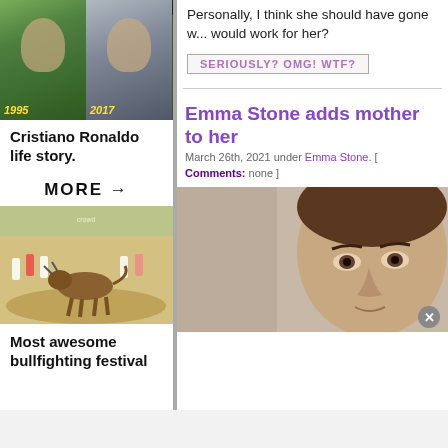[Figure (photo): Split photo of Cristiano Ronaldo in 1995 and 2017]
Cristiano Ronaldo life story.
MORE →
[Figure (photo): Photo of bullfighting festival with runners and bull]
Most awesome bullfighting festival
Personally, I think she should have gone w... would work for her?
[Figure (screenshot): Button reading SERIOUSLY? OMG! WTF?]
Emma Stone adds mother to her
March 26th, 2021 under Emma Stone. [ Comments: none ]
[Figure (photo): Close-up of man's face, likely a celebrity]